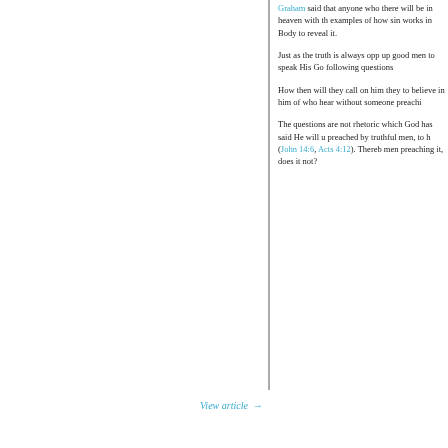Graham said that anyone who there will be in heaven with th examples of how sin works in Body to reveal it.
Just as the truth is always opp up good men to speak His Go following questions
How then will they call on him they to believe in him of who hear without someone preachi
The questions are not rhetoric which God has said He will u preached by truthful men, to h (John 14:6, Acts 4:12). Thereb men preaching it, does it not?
View article →